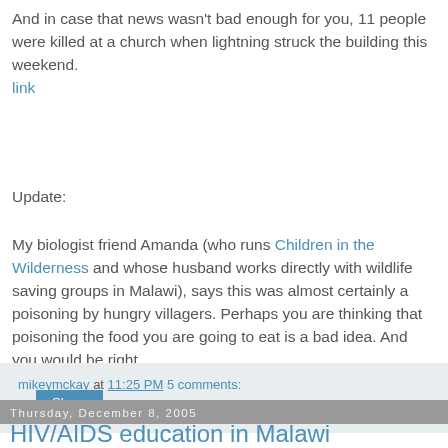And in case that news wasn't bad enough for you, 11 people were killed at a church when lightning struck the building this weekend. link
Update:
My biologist friend Amanda (who runs Children in the Wilderness and whose husband works directly with wildlife saving groups in Malawi), says this was almost certainly a poisoning by hungry villagers. Perhaps you are thinking that poisoning the food you are going to eat is a bad idea. And you would be right.
mikeymckay at 11:25 PM   5 comments:
Share
Thursday, December 8, 2005
HIV/AIDS education in Malawi